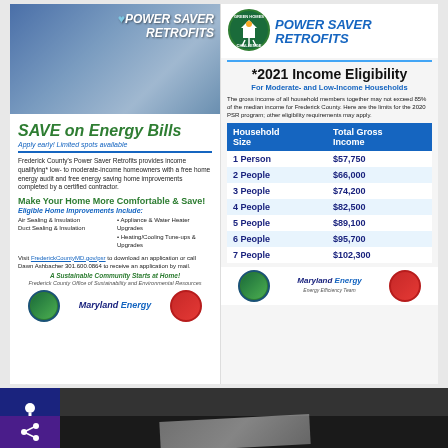[Figure (photo): Man in hard hat smiling, construction/weatherization work in background. Text overlay: POWER SAVER RETROFITS]
SAVE on Energy Bills
Apply early! Limited spots available
Frederick County's Power Saver Retrofits provides income qualifying* low- to moderate-income homeowners with a free home energy audit and free energy saving home improvements completed by a certified contractor.
Make Your Home More Comfortable & Save!
Eligible Home Improvements Include:
Air Sealing & Insulation
Duct Sealing & Insulation
Appliance & Water Heater Upgrades
Heating/Cooling Tune-ups & Upgrades
Visit FrederickCountyMD.gov/psr to download an application or call Dawn Ashbacher 301.600.0864 to receive an application by mail.
A Sustainable Community Starts at Home!
Frederick County Office of Sustainability and Environmental Resources
[Figure (logo): Maryland Energy Administration logo]
[Figure (logo): Green Homes Challenge logo]
POWER SAVER RETROFITS
*2021 Income Eligibility
For Moderate- and Low-Income Households
The gross income of all household members together may not exceed 85% of the median income for Frederick County. Here are the limits for the 2020 PSR program; other eligibility requirements may apply.
| Household Size | Total Gross Income |
| --- | --- |
| 1 Person | $57,750 |
| 2 People | $66,000 |
| 3 People | $74,200 |
| 4 People | $82,500 |
| 5 People | $89,100 |
| 6 People | $95,700 |
| 7 People | $102,300 |
[Figure (logo): Maryland Energy Administration logo (right panel)]